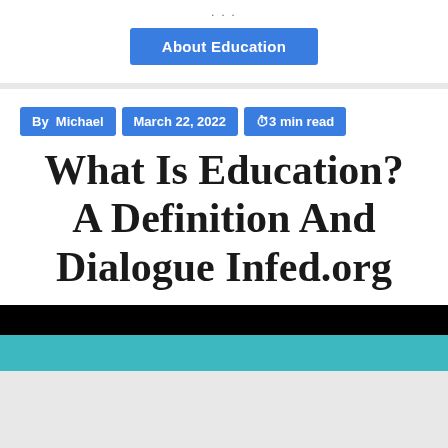...
About Education
By  Michael | March 22, 2022 | ⏱3 min read
What Is Education? A Definition And Dialogue Infed.org
[Figure (photo): Top portion of an article image with black and teal/cyan color bands]